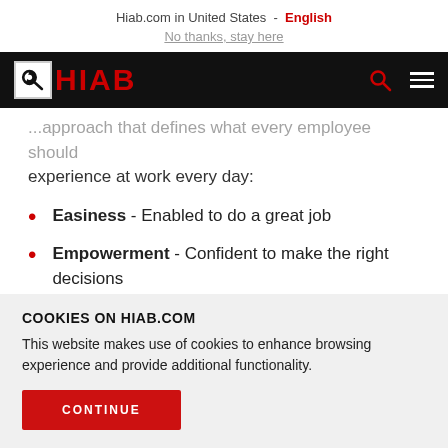Hiab.com in United States - English
No thanks, stay here
[Figure (logo): HIAB logo with red text and icon in white box on black navigation bar]
...approach that defines what every employee should experience at work every day:
Easiness - Enabled to do a great job
Empowerment - Confident to make the right decisions
COOKIES ON HIAB.COM
This website makes use of cookies to enhance browsing experience and provide additional functionality.
CONTINUE